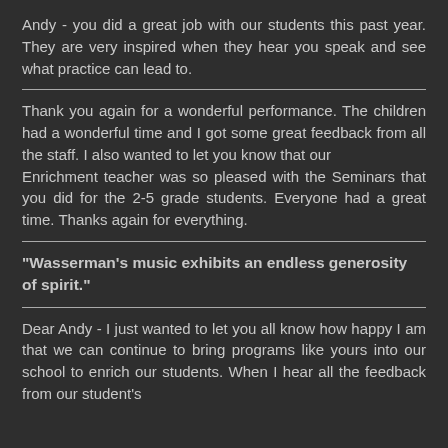Andy - you did a great job with our students this past year. They are very inspired when they hear you speak and see what practice can lead to.
Thank you again for a wonderful performance. The children had a wonderful time and I got some great feedback from all the staff. I also wanted to let you know that our Enrichment teacher was so pleased with the Seminars that you did for the 2-5 grade students. Everyone had a great time. Thanks again for everything.
"Wasserman's music exhibits an endless generosity of spirit."
Dear Andy - I just wanted to let you all know how happy I am that we can continue to bring programs like yours into our school to enrich our students. When I hear all the feedback from our student's